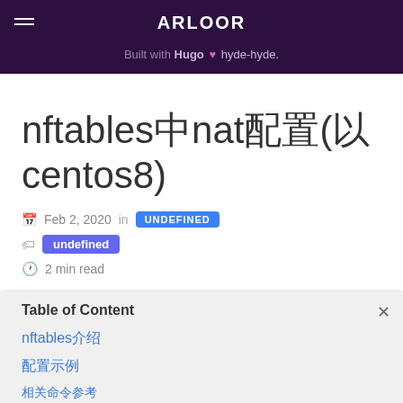ARLOOR
Built with Hugo ♥ hyde-hyde.
nftables中的nat配置(以centos8)
Feb 2, 2020 in UNDEFINED
undefined
2 min read
| Table of Content |
| --- |
| nftables介绍 |
| 配置示例 |
| 相关命令 |